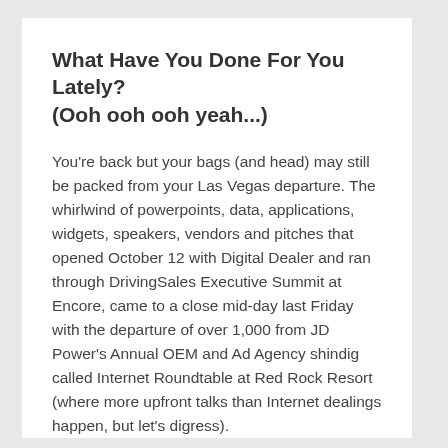What Have You Done For You Lately? (Ooh ooh ooh yeah...)
You're back but your bags (and head) may still be packed from your Las Vegas departure. The whirlwind of powerpoints, data, applications, widgets, speakers, vendors and pitches that opened October 12 with Digital Dealer and ran through DrivingSales Executive Summit at Encore, came to a close mid-day last Friday with the departure of over 1,000 from JD Power's Annual OEM and Ad Agency shindig called Internet Roundtable at Red Rock Resort (where more upfront talks than Internet dealings happen, but let's digress).
So your notebook, FlipCam, voice recorder and brain are packed with thoughts, visions, ideas and goals